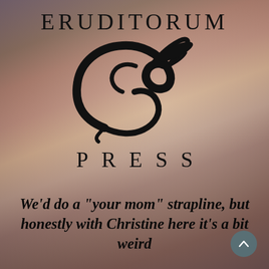ERUDITORUM
[Figure (logo): Eruditorum Press stylized EP logo in black calligraphic script]
PRESS
We’d do a “your mom” strapline, but honestly with Christine here it’s a bit weird